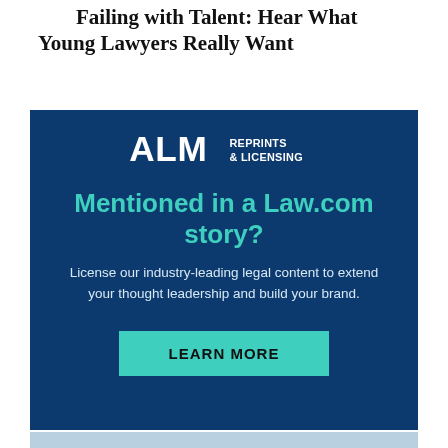Failing with Talent: Hear What Young Lawyers Really Want
[Figure (infographic): ALM Reprints & Licensing advertisement on dark blue background. Contains ALM logo, headline 'Mentioned in a Law.com story?', body text 'License our industry-leading legal content to extend your thought leadership and build your brand.', and a teal 'LEARN MORE' button.]